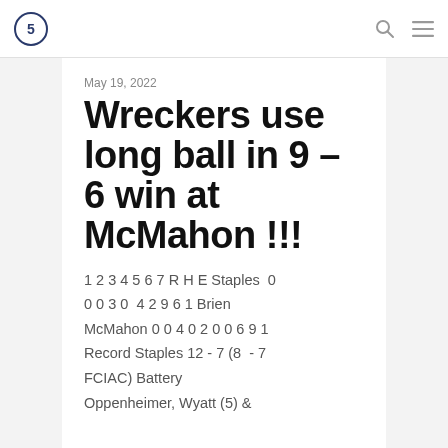May 19, 2022
Wreckers use long ball in 9 – 6 win at McMahon !!!
1 2 3 4 5 6 7 R H E Staples 0 0 0 3 0 4 2 9 6 1 Brien McMahon 0 0 4 0 2 0 0 6 9 1 Record Staples 12 - 7 (8 - 7 FCIAC) Battery Oppenheimer, Wyatt (5) &